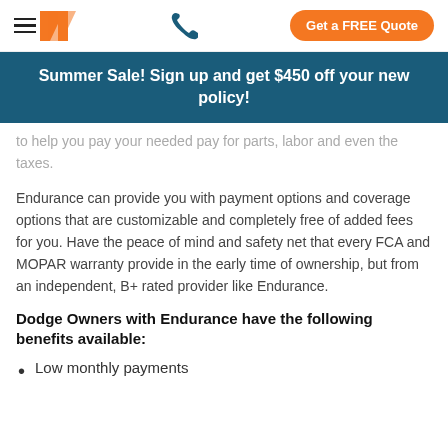Endurance navigation bar with hamburger menu, logo, phone icon, and Get a FREE Quote button
Summer Sale! Sign up and get $450 off your new policy!
to help you pay your needed pay for parts, labor and even the taxes.
Endurance can provide you with payment options and coverage options that are customizable and completely free of added fees for you. Have the peace of mind and safety net that every FCA and MOPAR warranty provide in the early time of ownership, but from an independent, B+ rated provider like Endurance.
Dodge Owners with Endurance have the following benefits available:
Low monthly payments